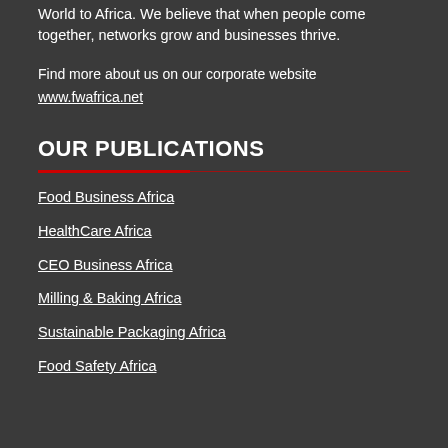World to Africa. We believe that when people come together, networks grow and businesses thrive.
Find more about us on our corporate website
www.fwafrica.net
OUR PUBLICATIONS
Food Business Africa
HealthCare Africa
CEO Business Africa
Milling & Baking Africa
Sustainable Packaging Africa
Food Safety Africa